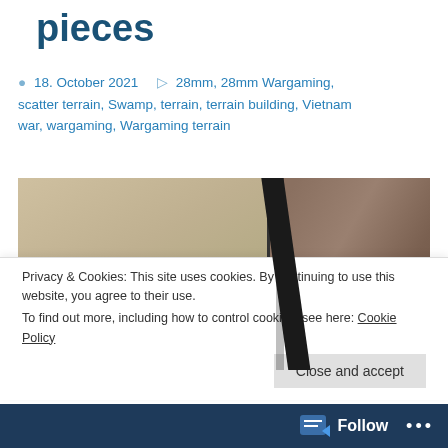pieces
18. October 2021  28mm, 28mm Wargaming, scatter terrain, Swamp, terrain, terrain building, Vietnam war, wargaming, Wargaming terrain
[Figure (photo): Close-up photo of miniature wargaming terrain pieces on a sandy/gravel textured base with green grass tufts, dark diagonal stripe in background, rocky texture on right side]
Privacy & Cookies: This site uses cookies. By continuing to use this website, you agree to their use.
To find out more, including how to control cookies, see here: Cookie Policy
Close and accept
Follow ...